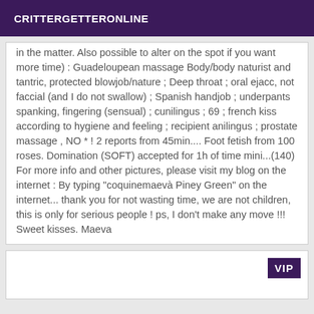CRITTERGETTERONLINE
in the matter. Also possible to alter on the spot if you want more time) : Guadeloupean massage Body/body naturist and tantric, protected blowjob/nature ; Deep throat ; oral ejacc, not faccial (and I do not swallow) ; Spanish handjob ; underpants spanking, fingering (sensual) ; cunilingus ; 69 ; french kiss according to hygiene and feeling ; recipient anilingus ; prostate massage , NO * ! 2 reports from 45min.... Foot fetish from 100 roses. Domination (SOFT) accepted for 1h of time mini...(140) For more info and other pictures, please visit my blog on the internet : By typing "coquinemaevà Piney Green" on the internet... thank you for not wasting time, we are not children, this is only for serious people ! ps, I don't make any move !!! Sweet kisses. Maeva
[Figure (other): Card with VIP badge in lower right area]